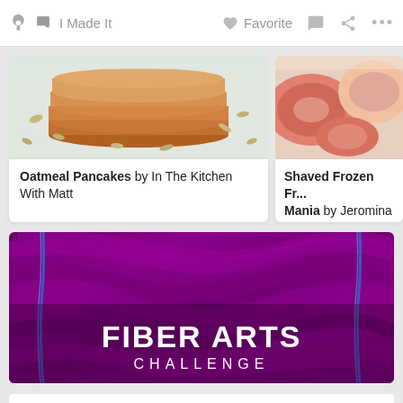I Made It   Favorite   ...
[Figure (photo): Photo of oatmeal pancakes stacked with oats scattered around on a white surface]
Oatmeal Pancakes by In The Kitchen With Matt
[Figure (photo): Photo of shaved frozen fruit pieces, pink/salmon colored segments]
Shaved Frozen Fr... Mania by Jeromina
[Figure (photo): Fiber Arts Challenge banner image — purple/magenta woven fiber texture with blue accent lines, white text overlay reading FIBER ARTS CHALLENGE]